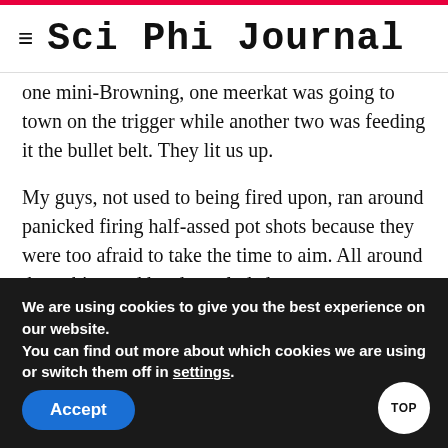≡ Sci Phi Journal
one mini-Browning, one meerkat was going to town on the trigger while another two was feeding it the bullet belt. They lit us up.
My guys, not used to being fired upon, ran around panicked firing half-assed pot shots because they were too afraid to take the time to aim. All around them, big-eyed heads exploded.
Meanwhile, the blonde called herself Hel after the Norse
We are using cookies to give you the best experience on our website.
You can find out more about which cookies we are using or switch them off in settings.